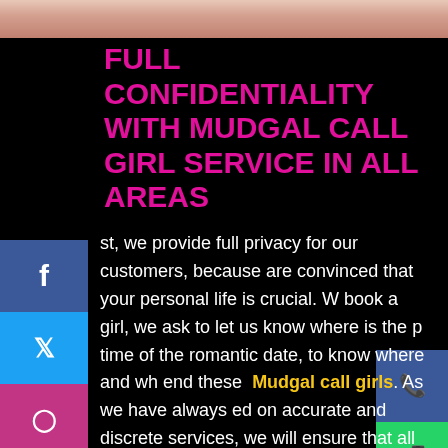[Figure (photo): Partial photo of a woman at the top of the page, cropped, showing lower face/shoulders area against a light background with a red border at bottom.]
FULL CONFIDENTIALITY WITH MUDGAL CALL GIRL SERVICE IN ALL AREAS
st, we provide full privacy for our customers, because are convinced that your personal life is crucial. W book a girl, we ask to let us know where is the p time of the romantic date, to know where and wh end these Mudgal call girls. As we have always ed on accurate and discrete services, we will ensure that all your personal data will be handled with maximum care. Nobody will know that you were the client of meetvipgirls ladies because we delete your personal information as soon as the girl returned to our office. In